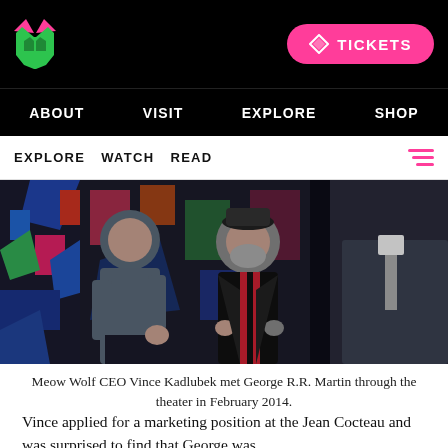MEOW WOLF [logo] | TICKETS
ABOUT  VISIT  EXPLORE  SHOP
EXPLORE  WATCH  READ
[Figure (photo): Three people standing in front of colorful artwork. Center figure is an older bearded man in a black jacket with red suspenders. Left is a younger man in a grey sweater. Right is a man in a grey suit.]
Meow Wolf CEO Vince Kadlubek met George R.R. Martin through the theater in February 2014.
Vince applied for a marketing position at the Jean Cocteau and was surprised to find that George was